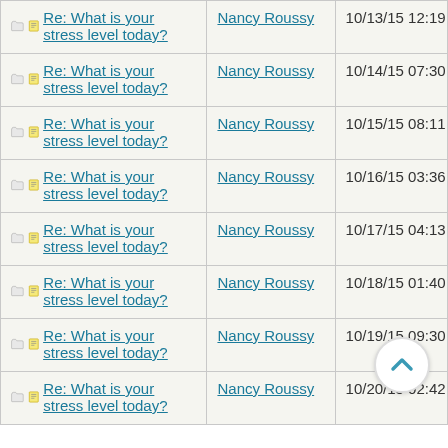| Subject | Author | Date |
| --- | --- | --- |
| Re: What is your stress level today? | Nancy Roussy | 10/13/15 12:19 PM |
| Re: What is your stress level today? | Nancy Roussy | 10/14/15 07:30 AM |
| Re: What is your stress level today? | Nancy Roussy | 10/15/15 08:11 AM |
| Re: What is your stress level today? | Nancy Roussy | 10/16/15 03:36 PM |
| Re: What is your stress level today? | Nancy Roussy | 10/17/15 04:13 PM |
| Re: What is your stress level today? | Nancy Roussy | 10/18/15 01:40 PM |
| Re: What is your stress level today? | Nancy Roussy | 10/19/15 09:30 AM |
| Re: What is your stress level today? | Nancy Roussy | 10/20/15 02:42 PM |